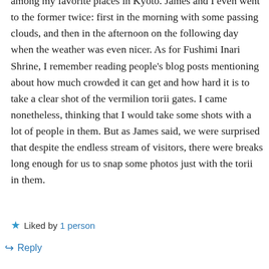among my favorite places in Kyoto. James and I even went to the former twice: first in the morning with some passing clouds, and then in the afternoon on the following day when the weather was even nicer. As for Fushimi Inari Shrine, I remember reading people's blog posts mentioning about how much crowded it can get and how hard it is to take a clear shot of the vermilion torii gates. I came nonetheless, thinking that I would take some shots with a lot of people in them. But as James said, we were surprised that despite the endless stream of visitors, there were breaks long enough for us to snap some photos just with the torii in them.
★ Liked by 1 person
↪ Reply